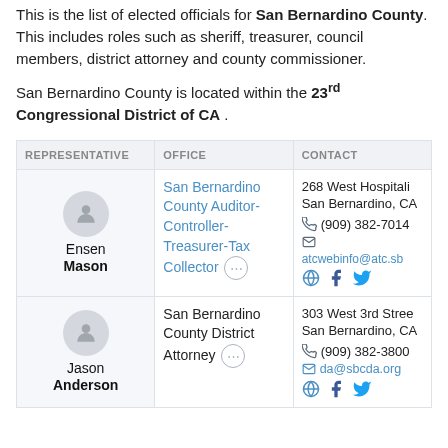This is the list of elected officials for San Bernardino County. This includes roles such as sheriff, treasurer, council members, district attorney and county commissioner.
San Bernardino County is located within the 23rd Congressional District of CA .
| REPRESENTATIVE | OFFICE | CONTACT |
| --- | --- | --- |
| Ensen Mason | San Bernardino County Auditor-Controller-Treasurer-Tax Collector | 268 West Hospitali
San Bernardino, CA
(909) 382-7014
atcwebinfo@atc.sb |
| Jason Anderson | San Bernardino County District Attorney | 303 West 3rd Stree
San Bernardino, CA
(909) 382-3800
da@sbcda.org |